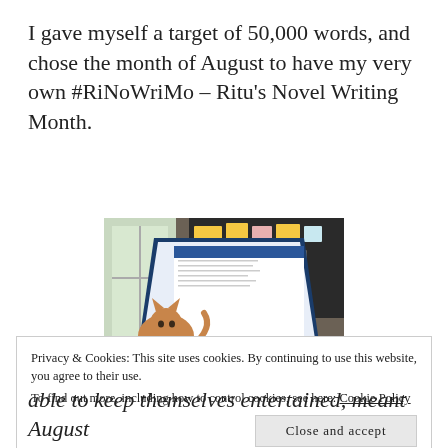I gave myself a target of 50,000 words, and chose the month of August to have my very own #RiNoWriMo – Ritu's Novel Writing Month.
[Figure (photo): A cat sitting on a desk in front of an open laptop, with a dark bulletin board covered in colorful sticky notes in the background and a window letting in natural light.]
Privacy & Cookies: This site uses cookies. By continuing to use this website, you agree to their use.
To find out more, including how to control cookies, see here: Cookie Policy
able to keep themselves entertained, meant August